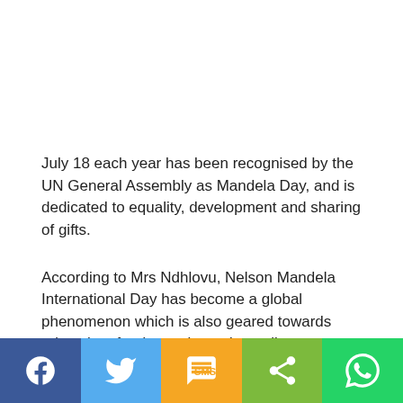July 18 each year has been recognised by the UN General Assembly as Mandela Day, and is dedicated to equality, development and sharing of gifts.
According to Mrs Ndhlovu, Nelson Mandela International Day has become a global phenomenon which is also geared towards education, food security and equality.
She said that civil society and businesses must unite in action to meet the global objectives, particularly in Africa.
[Figure (infographic): Social media share bar with five buttons: Facebook (blue), Twitter (light blue), SMS (orange/yellow), Share (green), WhatsApp (bright green)]